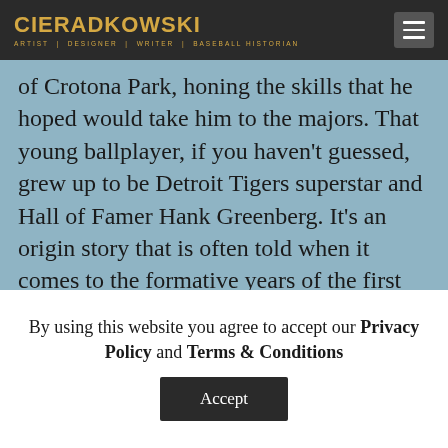CIERADKOWSKI — ARTIST | DESIGNER | WRITER | BASEBALL HISTORIAN
of Crotona Park, honing the skills that he hoped would take him to the majors. That young ballplayer, if you haven't guessed, grew up to be Detroit Tigers superstar and Hall of Famer Hank Greenberg. It's an origin story that is often told when it comes to the formative years of the first Jewish baseball superstar, but what's not commonly known is that one of those boys shagging flies went on to play in the majors too and, in turn,
By using this website you agree to accept our Privacy Policy and Terms & Conditions